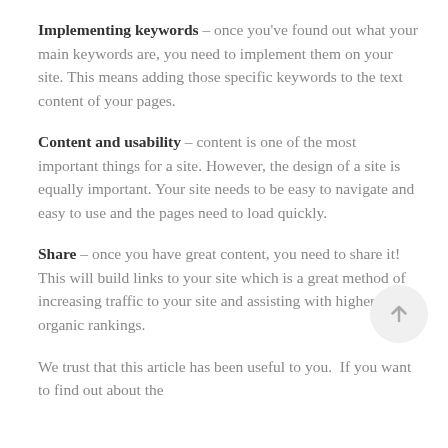Implementing keywords – once you've found out what your main keywords are, you need to implement them on your site. This means adding those specific keywords to the text content of your pages.
Content and usability – content is one of the most important things for a site. However, the design of a site is equally important. Your site needs to be easy to navigate and easy to use and the pages need to load quickly.
Share – once you have great content, you need to share it! This will build links to your site which is a great method of increasing traffic to your site and assisting with higher organic rankings.
We trust that this article has been useful to you.  If you want to find out about the